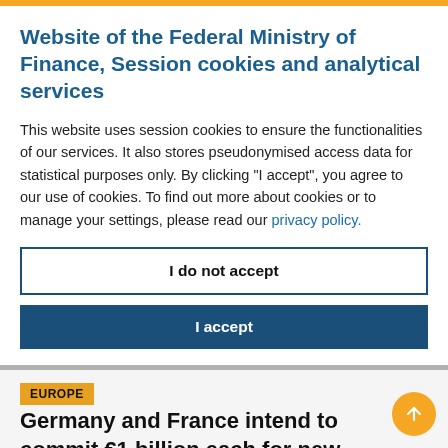Website of the Federal Ministry of Finance, Session cookies and analytical services
This website uses session cookies to ensure the functionalities of our services. It also stores pseudonymised access data for statistical purposes only. By clicking "I accept", you agree to our use of cookies. To find out more about cookies or to manage your settings, please read our privacy policy.
I do not accept
I accept
EUROPE
Germany and France intend to commit €1 billion each for new European Tech